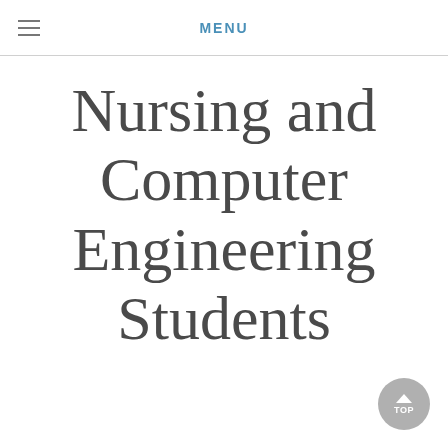MENU
Nursing and Computer Engineering Students
Networks and Emotions in